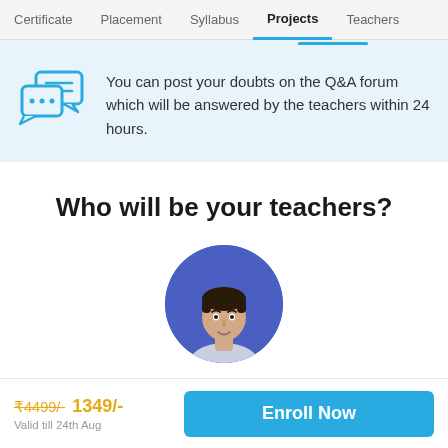Certificate  Placement  Syllabus  Projects  Teachers
You can post your doubts on the Q&A forum which will be answered by the teachers within 24 hours.
Who will be your teachers?
[Figure (photo): Circular profile photo of a young male teacher with dark hair on a blue/purple background]
₹4499/-  1349/-
Valid till 24th Aug
Enroll Now